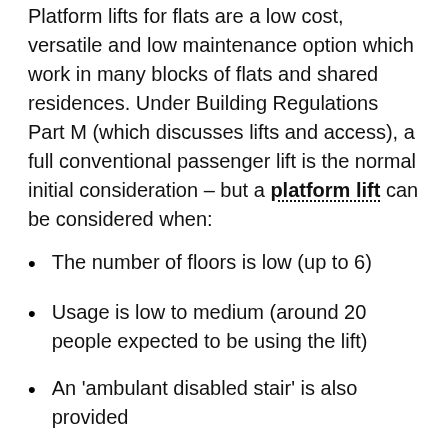Platform lifts for flats are a low cost, versatile and low maintenance option which work in many blocks of flats and shared residences. Under Building Regulations Part M (which discusses lifts and access), a full conventional passenger lift is the normal initial consideration – but a platform lift can be considered when:
The number of floors is low (up to 6)
Usage is low to medium (around 20 people expected to be using the lift)
An 'ambulant disabled stair' is also provided
Platform lifts are great for where budget or space is limited as they are much more cost